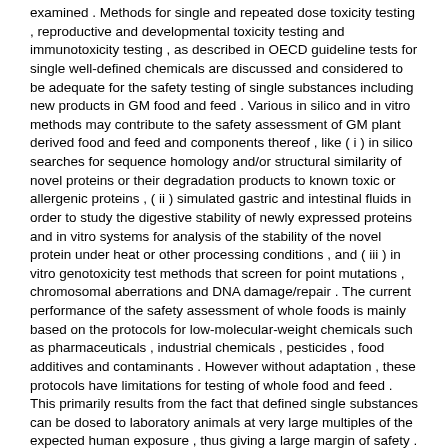examined . Methods for single and repeated dose toxicity testing , reproductive and developmental toxicity testing and immunotoxicity testing , as described in OECD guideline tests for single well-defined chemicals are discussed and considered to be adequate for the safety testing of single substances including new products in GM food and feed . Various in silico and in vitro methods may contribute to the safety assessment of GM plant derived food and feed and components thereof , like ( i ) in silico searches for sequence homology and/or structural similarity of novel proteins or their degradation products to known toxic or allergenic proteins , ( ii ) simulated gastric and intestinal fluids in order to study the digestive stability of newly expressed proteins and in vitro systems for analysis of the stability of the novel protein under heat or other processing conditions , and ( iii ) in vitro genotoxicity test methods that screen for point mutations , chromosomal aberrations and DNA damage/repair . The current performance of the safety assessment of whole foods is mainly based on the protocols for low-molecular-weight chemicals such as pharmaceuticals , industrial chemicals , pesticides , food additives and contaminants . However without adaptation , these protocols have limitations for testing of whole food and feed . This primarily results from the fact that defined single substances can be dosed to laboratory animals at very large multiples of the expected human exposure , thus giving a large margin of safety . In contrast foodstuffs are bulky , lead to satiation and can only be included in the diet at much lower multiples of expected human intakes . When testing whole foods , the possible highest concentration of the GM food and feed in the laboratory animal diet may be limited because of nutritional imbalance of the diet , or by the presence of compounds with a known toxicological profile . The aim of the 90-days rodent feeding study with the whole GM food and feed is to assess potential unintended effects of toxicological and/or nutritional relevance and to establish